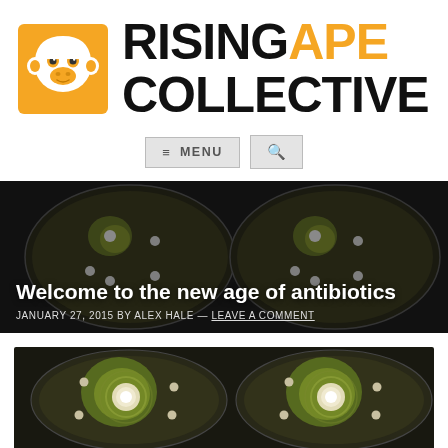[Figure (logo): Rising Ape Collective logo: orange square with white ape face icon, followed by bold text RISING in black and APE COLLECTIVE in orange]
[Figure (other): Navigation bar with hamburger menu button labeled MENU and a search icon button]
[Figure (photo): Dark banner background showing petri dishes with bacterial cultures and antibiotic disc diffusion test]
Welcome to the new age of antibiotics
JANUARY 27, 2015 BY ALEX HALE — LEAVE A COMMENT
[Figure (photo): Close-up photo of two petri dishes on dark background showing antibiotic disc diffusion tests with green/yellow bacterial cultures and white inhibition zones]